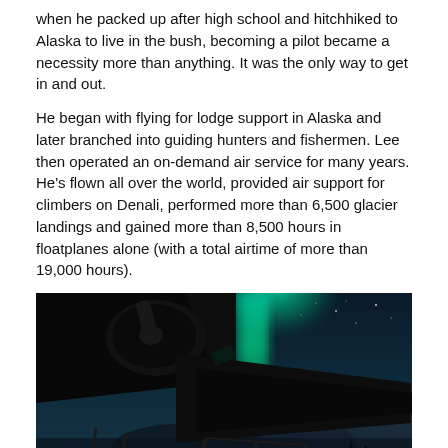when he packed up after high school and hitchhiked to Alaska to live in the bush, becoming a pilot became a necessity more than anything. It was the only way to get in and out.
He began with flying for lodge support in Alaska and later branched into guiding hunters and fishermen. Lee then operated an on-demand air service for many years. He's flown all over the world, provided air support for climbers on Denali, performed more than 6,500 glacier landings and gained more than 8,500 hours in floatplanes alone (with a total airtime of more than 19,000 hours).
[Figure (photo): A floatplane silhouetted against a dramatic night sky with northern lights (aurora borealis) glowing teal/green above dark clouds and treeline, shot from low angle showing the plane's floats and propeller.]